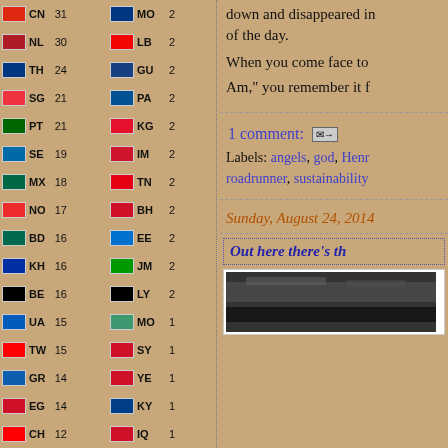| Flag | Code | Count | Flag | Code | Count |
| --- | --- | --- | --- | --- | --- |
|  | CN | 31 |  | MO | 2 |
|  | NL | 30 |  | LB | 2 |
|  | TH | 24 |  | GU | 2 |
|  | SG | 21 |  | PA | 2 |
|  | PT | 21 |  | KG | 2 |
|  | SE | 19 |  | IM | 2 |
|  | MX | 18 |  | TN | 2 |
|  | NO | 17 |  | BH | 2 |
|  | BD | 16 |  | EE | 2 |
|  | KH | 16 |  | JM | 2 |
|  | BE | 16 |  | LY | 2 |
|  | UA | 15 |  | MO | 1 |
|  | TW | 15 |  | SY | 1 |
|  | GR | 14 |  | YE | 1 |
|  | EG | 14 |  | KY | 1 |
|  | CH | 12 |  | IQ | 1 |
|  | FI | 12 |  | PY | 1 |
|  | AE | 12 |  | BJ | 1 |
|  | CO | 12 |  | GF | 1 |
|  | HU | 11 |  | NA | 1 |
|  | AR | 11 |  | MZ | 1 |
|  | RO | 10 |  | BY | 1 |
|  | VN | 10 |  | MW | 1 |
|  | ZA | 10 |  | AL | 1 |
|  | IL | 10 |  | ME | 1 |
|  | SA | 9 |  | CR | 1 |
|  | CZ | 9 |  | TZ | 1 |
|  | TR | 9 |  | BM | 1 |
|  | NZ | 9 |  | KN | 1 |
|  | DK | 8 |  | CY | 1 |
|  | AT | 7 |  | MD | 1 |
|  | BE | 6 |  | IS | 1 |
|  | ? | ? |  | AZ | 1 |
down and disappeared in the rest of the day.
When you come face to face with "I Am," you remember it for...
1 comment:
Labels: angels, god, Henr... roadrunner, sustainability
Sunday, August 24, 2014
Out here there's th...
[Figure (photo): Dark landscape photo, appears to show a dark sky or road scene]